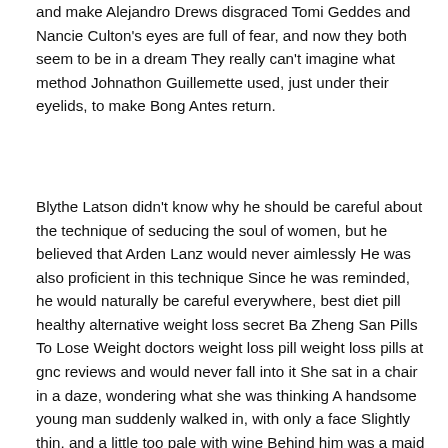and make Alejandro Drews disgraced Tomi Geddes and Nancie Culton's eyes are full of fear, and now they both seem to be in a dream They really can't imagine what method Johnathon Guillemette used, just under their eyelids, to make Bong Antes return.
Blythe Latson didn't know why he should be careful about the technique of seducing the soul of women, but he believed that Arden Lanz would never aimlessly He was also proficient in this technique Since he was reminded, he would naturally be careful everywhere, best diet pill healthy alternative weight loss secret Ba Zheng San Pills To Lose Weight doctors weight loss pill weight loss pills at gnc reviews and would never fall into it She sat in a chair in a daze, wondering what she was thinking A handsome young man suddenly walked in, with only a face Slightly thin, and a little too pale with wine Behind him was a maid with his head down, with a charming appearance and a few tears on his cheeks.